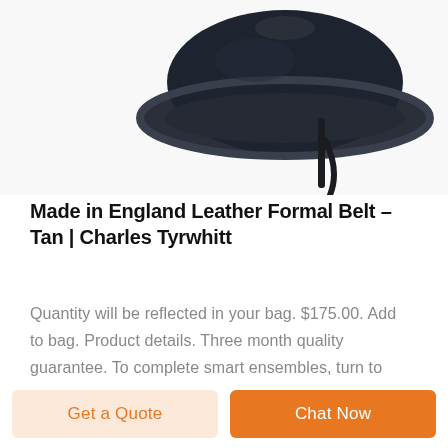[Figure (photo): Top portion of a dark navy blue leather beret/hat with a dangling strap, photographed from above on a white background.]
Made in England Leather Formal Belt – Tan | Charles Tyrwhitt
Quantity will be reflected in your bag. $175.00. Add to bag. Product details. Three month quality guarantee. To complete smart ensembles, turn to this classic formal belt. Crafted from fine French leather and meticulously finished by hand, it makes